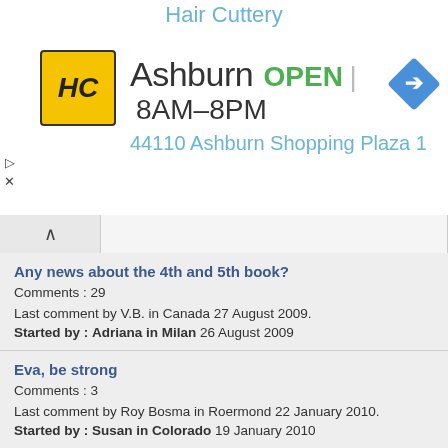[Figure (screenshot): Hair Cuttery advertisement banner showing HC logo, Ashburn location, OPEN 8AM-8PM, address 44110 Ashburn Shopping Plaza 1, and a direction arrow icon]
Any news about the 4th and 5th book?
Comments : 29
Last comment by V.B. in Canada 27 August 2009.
Started by : Adriana in Milan 26 August 2009
Eva, be strong
Comments : 3
Last comment by Roy Bosma in Roermond 22 January 2010.
Started by : Susan in Colorado 19 January 2010
4 th book
Comments : 7
Last comment by Reen in Cape Town 27 January 2010.
Started by : Geoff in Oswestry 23 January 2010
Announced 4th book by Logercrantz
Comments : 2
Last comment by turtle in California 24 October 2014